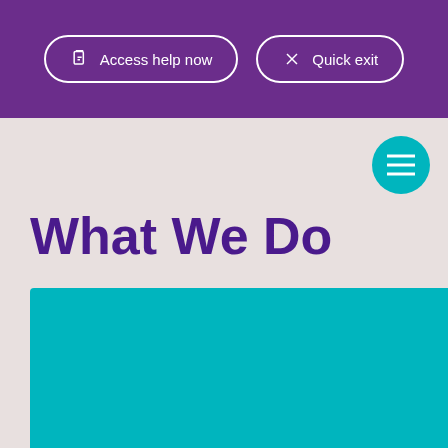Access help now | Quick exit
[Figure (other): Teal circular hamburger menu button with three horizontal lines]
What We Do
[Figure (other): Large teal/cyan rectangular block filling lower portion of page]